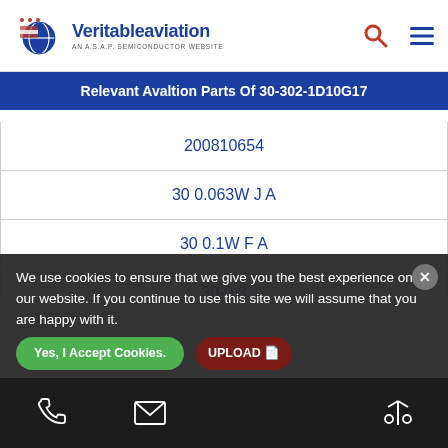Veritableaviation - AN ASAP SEMICONDUCTOR WEBSITE
Relevant Avaltion Parts Of 30-302-1D10G17
| Part Number |
| --- |
| 200810654 |
| 30 0.063W J A |
| 30 0.1W F A |
| 30-0.3 |
| 30-0.3-5PP-G |
| 30-0-30A |
| 30-0.3M |
| 30-0.4-4PP-L |
We use cookies to ensure that we give you the best experience on our website. If you continue to use this site we will assume that you are happy with it.